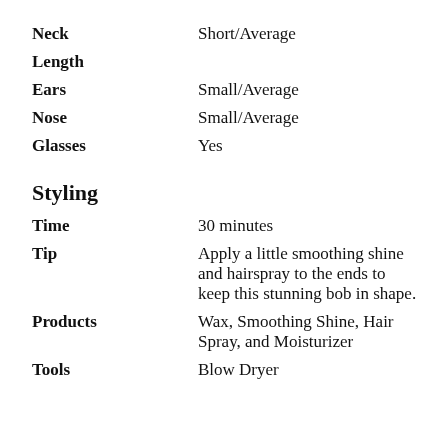Neck Length: Short/Average
Ears: Small/Average
Nose: Small/Average
Glasses: Yes
Styling
Time: 30 minutes
Tip: Apply a little smoothing shine and hairspray to the ends to keep this stunning bob in shape.
Products: Wax, Smoothing Shine, Hair Spray, and Moisturizer
Tools: Blow Dryer